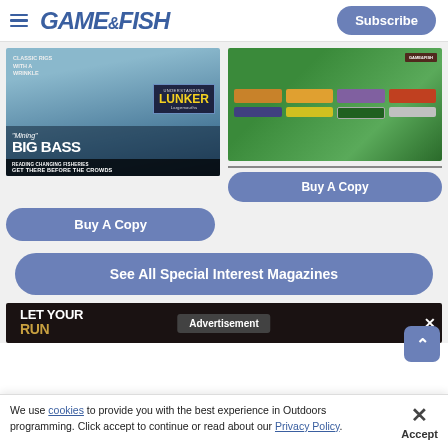GAME&FISH | Subscribe
[Figure (photo): Game & Fish magazine cover showing a person holding a large bass fish, with text 'Classic Rigs with a Wrinkle', 'Understanding Lunker Largemouths', '"Mining" Big Bass', 'Reading Changing Fisheries Get There Before the Crowds']
[Figure (photo): Photo of fishing tackle, lures, and gear spread on a green cloth/bag]
Buy A Copy
Buy A Copy
See All Special Interest Magazines
[Figure (screenshot): Advertisement banner with text 'LET YOUR' and 'RUN' in orange, with 'Advertisement' overlay label and close button]
We use cookies to provide you with the best experience in Outdoors programming. Click accept to continue or read about our Privacy Policy.